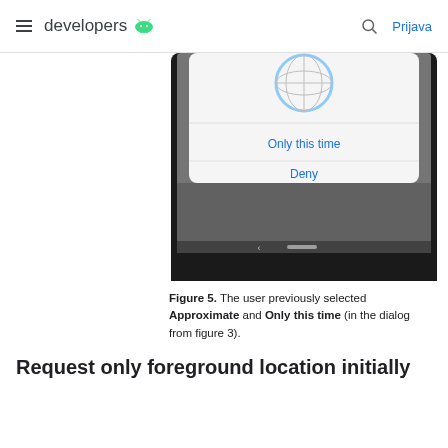developers  Prijava
[Figure (screenshot): Android device screenshot showing a permission dialog with options 'Only this time' and 'Deny' in blue text on a white card, set against a dark grey background. The bottom navigation bar is visible with a back arrow and home indicator.]
Figure 5. The user previously selected Approximate and Only this time (in the dialog from figure 3).
Request only foreground location initially